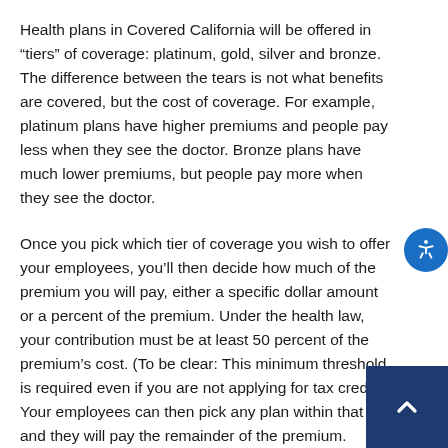Health plans in Covered California will be offered in “tiers” of coverage: platinum, gold, silver and bronze. The difference between the tears is not what benefits are covered, but the cost of coverage. For example, platinum plans have higher premiums and people pay less when they see the doctor. Bronze plans have much lower premiums, but people pay more when they see the doctor.
Once you pick which tier of coverage you wish to offer your employees, you’ll then decide how much of the premium you will pay, either a specific dollar amount or a percent of the premium. Under the health law, your contribution must be at least 50 percent of the premium’s cost. (To be clear: This minimum threshold is required even if you are not applying for tax credit.) Your employees can then pick any plan within that tier and they will pay the remainder of the premium.